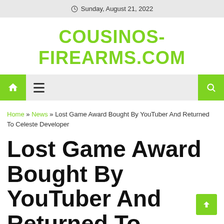Sunday, August 21, 2022
COUSINOS-FIREARMS.COM
Navigation bar with home, menu, and search buttons
Home » News » Lost Game Award Bought By YouTuber And Returned To Celeste Developer
Lost Game Award Bought By YouTuber And Returned To